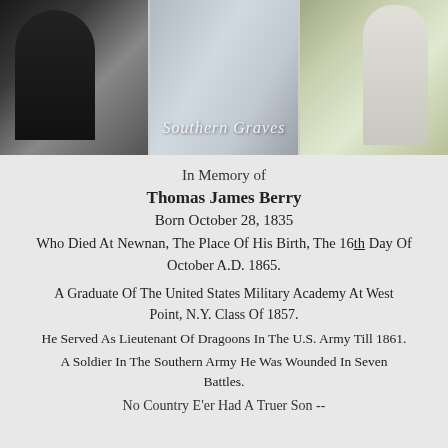[Figure (photo): A triptych of three cemetery gravestone photographs arranged side by side. Left panel shows a dark/black ornate gravestone. Middle panel shows a lighter marble gravestone with 'Southern Graves' written in cursive script overlay. Right panel shows a tall white monument gravestone outdoors.]
In Memory of
Thomas James Berry
Born October 28, 1835
Who Died At Newnan, The Place Of His Birth, The 16th Day Of October A.D. 1865.
A Graduate Of The United States Military Academy At West Point, N.Y. Class Of 1857.
He Served As Lieutenant Of Dragoons In The U.S. Army Till 1861.
A Soldier In The Southern Army He Was Wounded In Seven Battles.
No Country E'er Had A Truer Son --